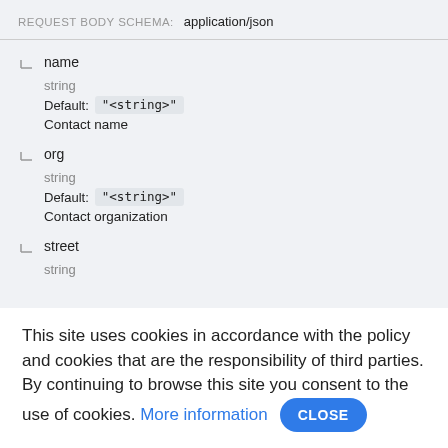REQUEST BODY SCHEMA: application/json
name
string
Default: "<string>"
Contact name
org
string
Default: "<string>"
Contact organization
street
string
This site uses cookies in accordance with the policy and cookies that are the responsibility of third parties. By continuing to browse this site you consent to the use of cookies. More information CLOSE